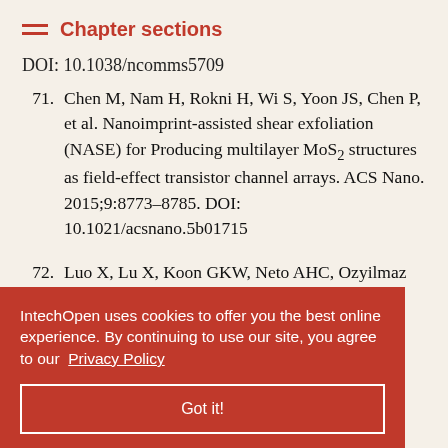Chapter sections
DOI: 10.1038/ncomms5709
71. Chen M, Nam H, Rokni H, Wi S, Yoon JS, Chen P, et al. Nanoimprint-assisted shear exfoliation (NASE) for Producing multilayer MoS2 structures as field-effect transistor channel arrays. ACS Nano. 2015;9:8773–8785. DOI: 10.1021/acsnano.5b01715
72. Luo X, Lu X, Koon GKW, Neto AHC, Ozyilmaz B, Xiong QH, et al. Large frequency change ...ng mode- ...n few layer ...015;15:3931– ...90775
IntechOpen uses cookies to offer you the best online experience. By continuing to use our site, you agree to our Privacy Policy
Got it!